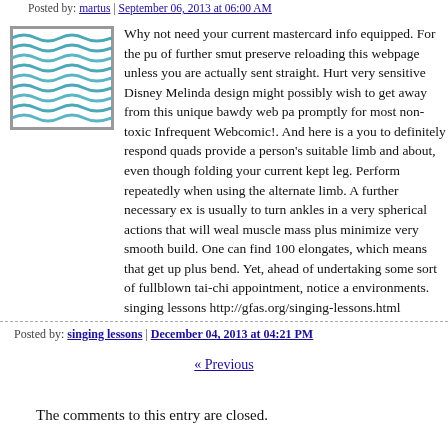Posted by: martus | September 06, 2013 at 06:00 AM
[Figure (illustration): Avatar image with teal/blue wave pattern on white background, square with border]
Why not need your current mastercard info equipped. For the pu of further smut preserve reloading this webpage unless you are actually sent straight. Hurt very sensitive Disney Melinda design might possibly wish to get away from this unique bawdy web pa promptly for most non-toxic Infrequent Webcomic!. And here is a you to definitely respond quads provide a person's suitable limb and about, even though folding your current kept leg. Perform repeatedly when using the alternate limb. A further necessary ex is usually to turn ankles in a very spherical actions that will weal muscle mass plus minimize very smooth build. One can find 100 elongates, which means that get up plus bend. Yet, ahead of undertaking some sort of fullblown tai-chi appointment, notice a environments.
singing lessons http://gfas.org/singing-lessons.html
Posted by: singing lessons | December 04, 2013 at 04:21 PM
« Previous
The comments to this entry are closed.